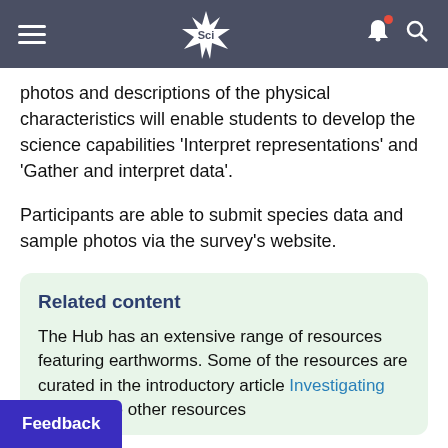Sci
photos and descriptions of the physical characteristics will enable students to develop the science capabilities 'Interpret representations' and 'Gather and interpret data'.
Participants are able to submit species data and sample photos via the survey's website.
Related content
The Hub has an extensive range of resources featuring earthworms. Some of the resources are curated in the introductory article Investigating ns. Explore other resources